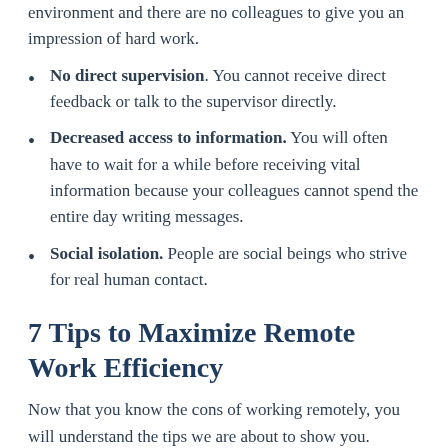environment and there are no colleagues to give you an impression of hard work.
No direct supervision. You cannot receive direct feedback or talk to the supervisor directly.
Decreased access to information. You will often have to wait for a while before receiving vital information because your colleagues cannot spend the entire day writing messages.
Social isolation. People are social beings who strive for real human contact.
7 Tips to Maximize Remote Work Efficiency
Now that you know the cons of working remotely, you will understand the tips we are about to show you. Without further ado, let's take a look at the seven critical ways to maximize remote work